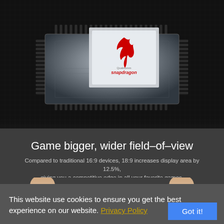[Figure (photo): Close-up photo of a Qualcomm Snapdragon processor chip on a dark circuit board background with metallic pin connectors visible around the chip edges.]
Game bigger, wider field–of–view
Compared to traditional 16:9 devices, 18:9 increases display area by 12.5%, giving you a competitive edge in all your favorite games.
This website use cookies to ensure you get the best experience on our website. Privacy Policy  Got it!